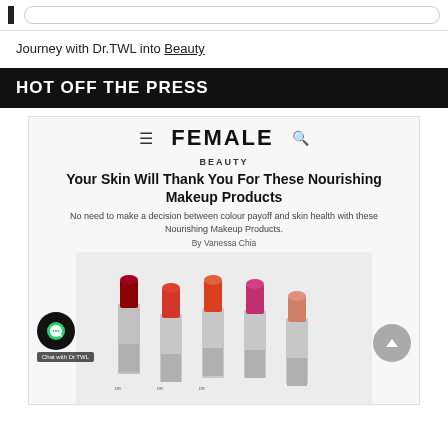Journey with Dr.TWL into Beauty
HOT OFF THE PRESS
[Figure (screenshot): Screenshot of Female magazine website showing article: 'Your Skin Will Thank You For These Nourishing Makeup Products' by Vanessa Chia, with an image of five lipsticks in red, pink, and peach shades.]